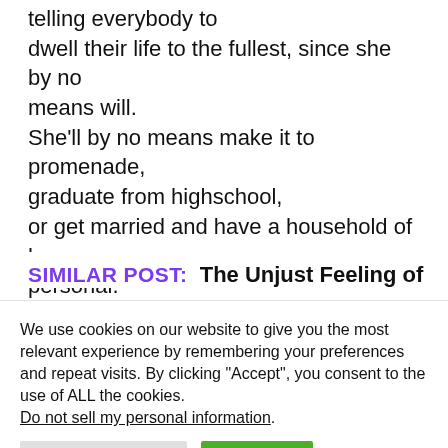telling everybody to dwell their life to the fullest, since she by no means will. She'll by no means make it to promenade, graduate from highschool, or get married and have a household of her personal.
SIMILAR POST:  The Unjust Feeling of
We use cookies on our website to give you the most relevant experience by remembering your preferences and repeat visits. By clicking "Accept", you consent to the use of ALL the cookies. Do not sell my personal information.
Cookie Settings  Accept